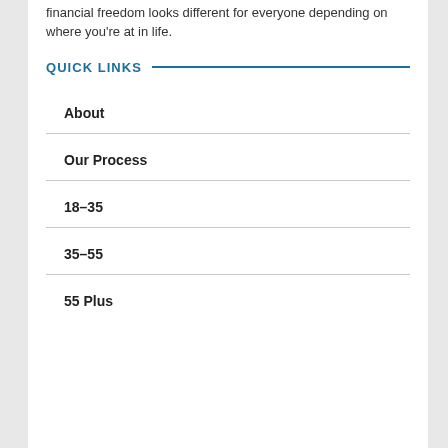financial freedom looks different for everyone depending on where you're at in life.
QUICK LINKS
About
Our Process
18–35
35–55
55 Plus